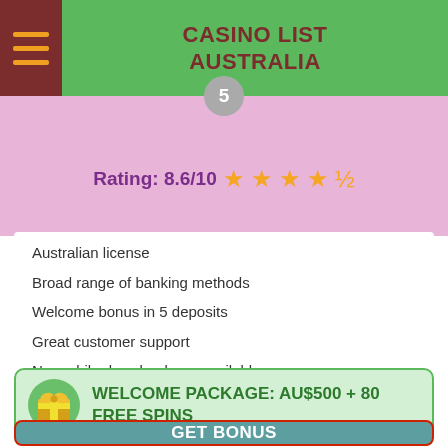CASINO LIST AUSTRALIA
Rating: 8.6/10 ★★★★½
Australian license
Broad range of banking methods
Welcome bonus in 5 deposits
Great customer support
No mobile download app available
WELCOME PACKAGE: AU$500 + 80 FREE SPINS
GET BONUS